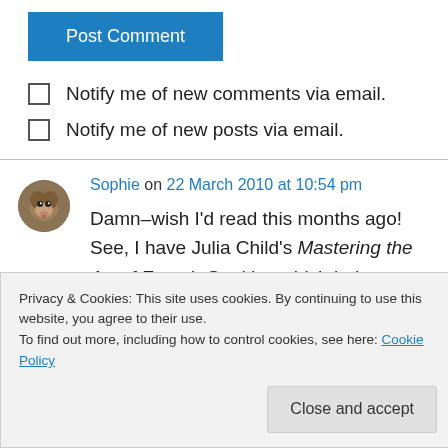[Figure (other): Blue 'Post Comment' button]
Notify me of new comments via email.
Notify me of new posts via email.
Sophie on 22 March 2010 at 10:54 pm
Damn–wish I'd read this months ago! See, I have Julia Child's Mastering the Art of French Cooking which led me to seek out old Julia
Privacy & Cookies: This site uses cookies. By continuing to use this website, you agree to their use.
To find out more, including how to control cookies, see here: Cookie Policy
Close and accept